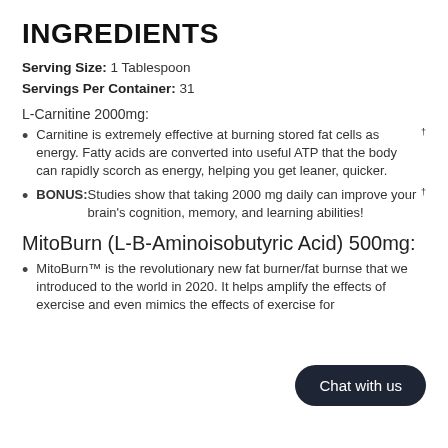INGREDIENTS
Serving Size: 1 Tablespoon
Servings Per Container: 31
L-Carnitine 2000mg:
Carnitine is extremely effective at burning stored fat cells as energy. Fatty acids are converted into useful ATP that the body can rapidly scorch as energy, helping you get leaner, quicker.†
BONUS: Studies show that taking 2000 mg daily can improve your brain's cognition, memory, and learning abilities!†
MitoBurn (L-B-Aminoisobutyric Acid) 500mg:
MitoBurn™ is the revolutionary new fat burner/fat burner/fat burner/fat burner/fat burner/fat burner/fat burner/fat burner/fat burner that we introduced to the world in 2020. It helps amplify the effects of exercise and even mimics the effects of exercise for